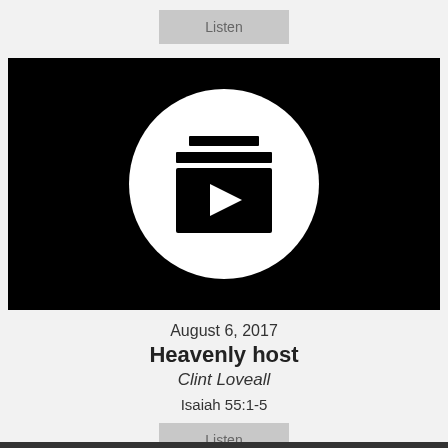[Figure (screenshot): Listen button (gray rounded rectangle) at top center]
[Figure (illustration): Black video thumbnail with white circle containing a play button icon and stacked lines above representing a playlist/video icon]
August 6, 2017
Heavenly host
Clint Loveall
Isaiah 55:1-5
[Figure (screenshot): Listen button (gray rounded rectangle) at bottom center]